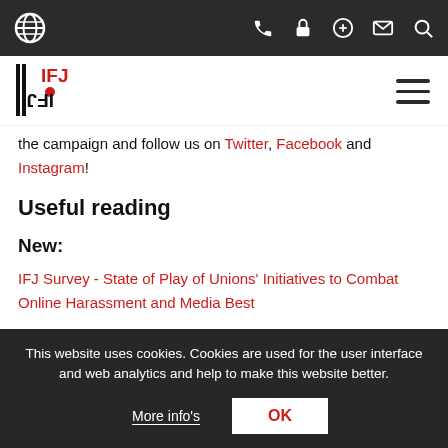IFJ website navigation bar with globe icon and utility icons (phone, lock, plus, mail, search)
[Figure (logo): IFJ / FIJ logo in red and black with mirror typography]
the campaign and follow us on Twitter, Facebook and Instagram!
Useful reading
New:
IFJ Survey - State of Play of Unions' Initiatives to Combat Online Harassment and Media Best
This website uses cookies. Cookies are used for the user interface and web analytics and help to make this website better.